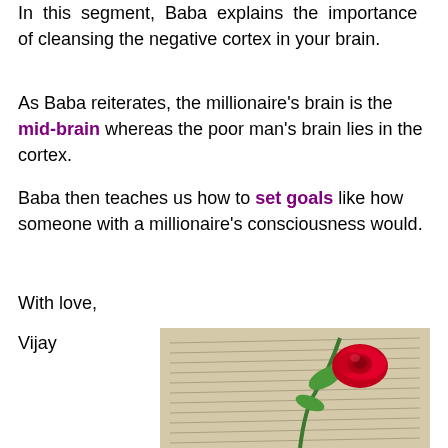In this segment, Baba explains the importance of cleansing the negative cortex in your brain.
As Baba reiterates, the millionaire's brain is the mid-brain whereas the poor man's brain lies in the cortex.
Baba then teaches us how to set goals like how someone with a millionaire's consciousness would.
With love,
Vijay
[Figure (photo): A red rose resting on an open book with handwritten text, with green stem visible]